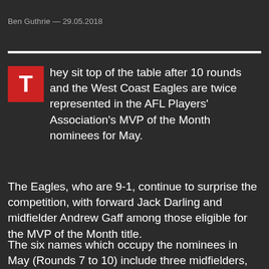Ben Guthrie — 29.05.2018
They sit top of the table after 10 rounds and the West Coast Eagles are twice represented in the AFL Players' Association's MVP of the Month nominees for May.
The Eagles, who are 9-1, continue to surprise the competition, with forward Jack Darling and midfielder Andrew Gaff among those eligible for the MVP of the Month title.
The six names which occupy the nominees in May (Rounds 7 to 10) include three midfielders, two ruckman and one forward, with last month's winner, Steele Sidebottom